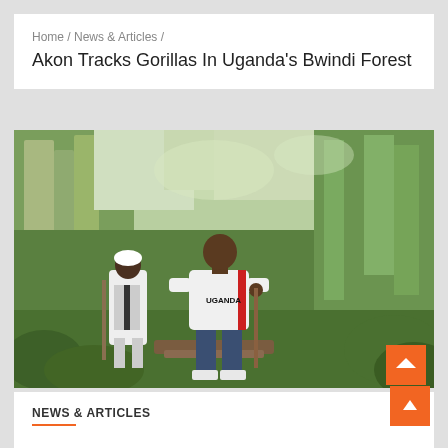Home / News & Articles /
Akon Tracks Gorillas In Uganda's Bwindi Forest
[Figure (photo): Two people walking through a lush green forest. The person in the foreground wears a white Uganda jersey and holds a walking stick, standing on a log. A second person in white clothing with a scarf is seen behind them. Dense green vegetation fills the background.]
NEWS & ARTICLES